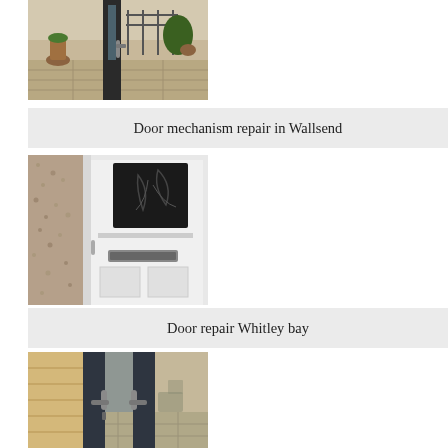[Figure (photo): Close-up of a dark door mechanism/handle near a glass panel with outdoor patio visible in background]
Door mechanism repair in Wallsend
[Figure (photo): White composite front door with decorative glass panel and letter box, set against textured stone/pebble dash wall]
Door repair Whitley bay
[Figure (photo): Dark grey door frame with lever handle and lock mechanism, outdoor patio visible in background]